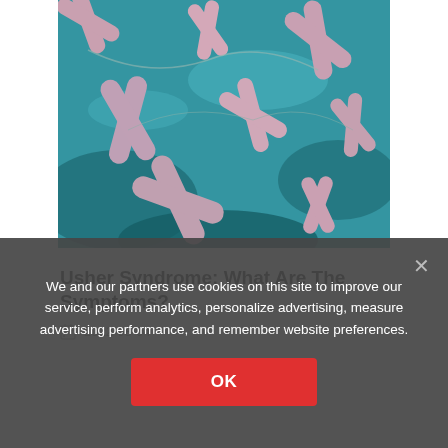[Figure (photo): Close-up scientific illustration of pink X-shaped chromosomes against a teal/blue background]
Usher Syndrome: What Are The Symptoms?
2022-08-04
We and our partners use cookies on this site to improve our service, perform analytics, personalize advertising, measure advertising performance, and remember website preferences.